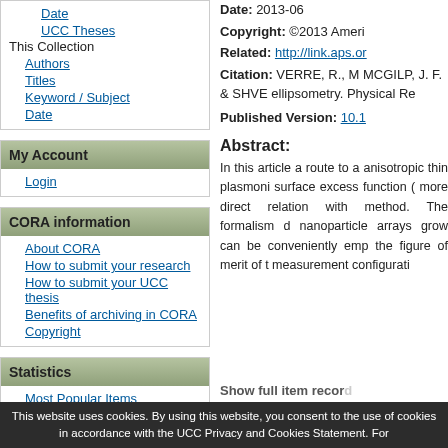Date
UCC Theses
This Collection
Authors
Titles
Keyword / Subject
Date
My Account
Login
CORA information
About CORA
How to submit your research
How to submit your UCC thesis
Benefits of archiving in CORA
Copyright
Statistics
Most Popular Items
Statistics by Country
Most Popular Authors
Date: 2013-06
Copyright: ©2013 Ameri
Related: http://link.aps.or
Citation: VERRE, R., M MCGILP, J. F. & SHVE ellipsometry. Physical Re
Published Version: 10.1
Abstract:
In this article a route to a anisotropic thin plasmoni surface excess function ( more direct relation with method. The formalism d nanoparticle arrays grow can be conveniently emp the figure of merit of t measurement configurati
Show full item record
This website uses cookies. By using this website, you consent to the use of cookies in accordance with the UCC Privacy and Cookies Statement. For